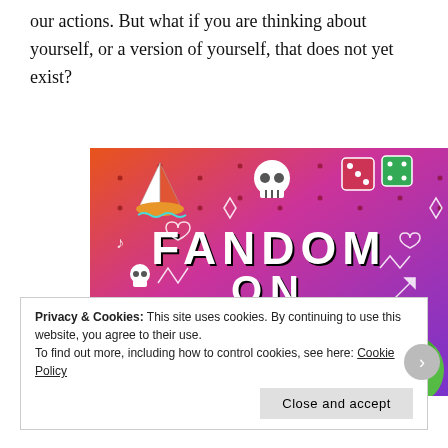our actions. But what if you are thinking about yourself, or a version of yourself, that does not yet exist?
[Figure (illustration): Colorful illustration with gradient background (orange to purple) showing 'FANDOM ON tumblr' text with cartoon stickers including a sailboat, skull, dice, octopus, and green character with various doodles]
Privacy & Cookies: This site uses cookies. By continuing to use this website, you agree to their use.
To find out more, including how to control cookies, see here: Cookie Policy
Close and accept